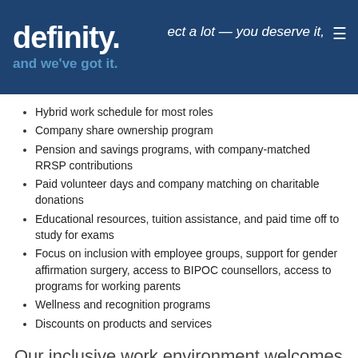definity. ect a lot — you deserve it, and we've got it.
Hybrid work schedule for most roles
Company share ownership program
Pension and savings programs, with company-matched RRSP contributions
Paid volunteer days and company matching on charitable donations
Educational resources, tuition assistance, and paid time off to study for exams
Focus on inclusion with employee groups, support for gender affirmation surgery, access to BIPOC counsellors, access to programs for working parents
Wellness and recognition programs
Discounts on products and services
Our inclusive work environment welcomes diversity and supports accessibility. If you require accommodation at any time during the